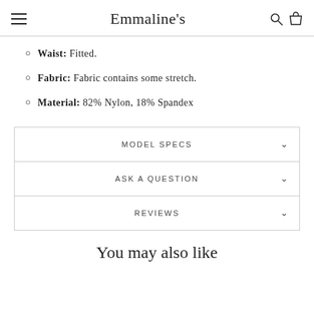Emmaline's
Waist: Fitted.
Fabric: Fabric contains some stretch.
Material: 82% Nylon, 18% Spandex
MODEL SPECS
ASK A QUESTION
REVIEWS
You may also like